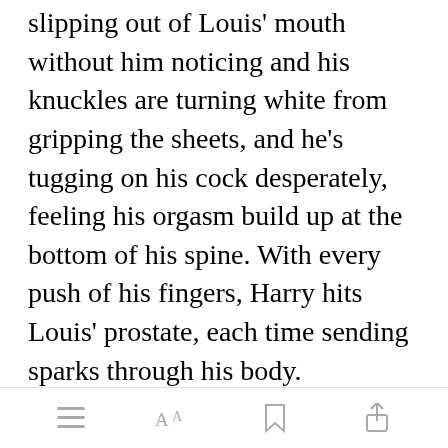slipping out of Louis' mouth without him noticing and his knuckles are turning white from gripping the sheets, and he's tugging on his cock desperately, feeling his orgasm build up at the bottom of his spine. With every push of his fingers, Harry hits Louis' prostate, each time sending sparks through his body.
“Harry, I’m close…” Louis whines, rolling his hips to meet Harry’s
[Figure (screenshot): Green 'Open in app' button overlay]
navigation icons: menu, font size (AA), bookmark, share